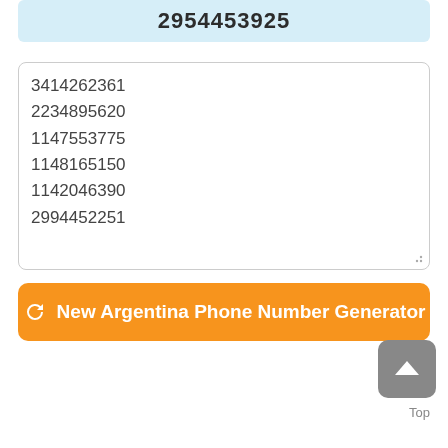2954453925
3414262361
2234895620
1147553775
1148165150
1142046390
2994452251
🔄 New Argentina Phone Number Generator